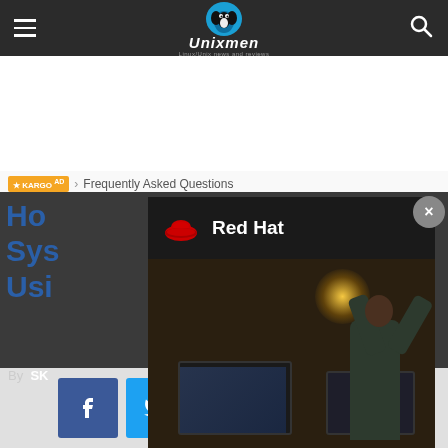Unixmen - Linux/Unix news and reviews
[Figure (screenshot): White advertisement area placeholder]
KARGO AD › Frequently Asked Questions
How to Manage System Users Using...
[Figure (photo): Red Hat advertisement overlay showing a person at a computer desk with arms raised, Red Hat logo and wordmark visible]
By SK
[Figure (infographic): Social share buttons: Facebook, Twitter, Google+, Pinterest, WhatsApp]